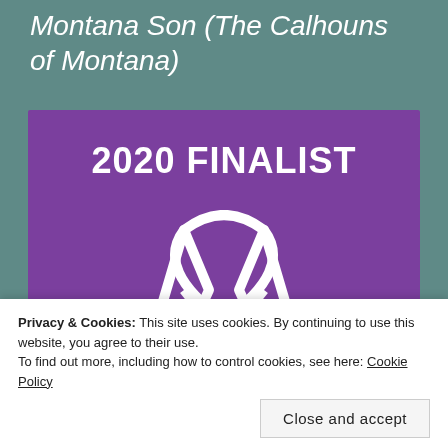Montana Son (The Calhouns of Montana)
[Figure (logo): Purple square badge with white bold text '2020 FINALIST' and a stylized white logo mark showing two letter A shapes flanking a heart shape formed by their crossing strokes — an award finalist badge.]
Privacy & Cookies: This site uses cookies. By continuing to use this website, you agree to their use.
To find out more, including how to control cookies, see here: Cookie Policy
Close and accept